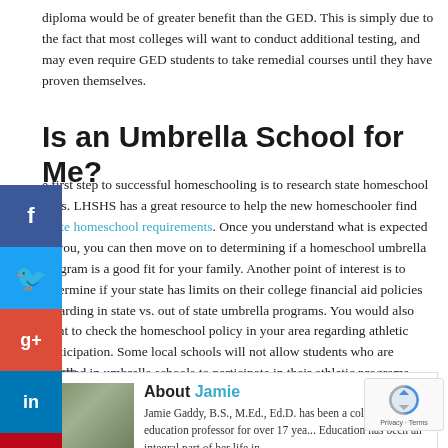diploma would be of greater benefit than the GED. This is simply due to the fact that most colleges will want to conduct additional testing, and may even require GED students to take remedial courses until they have proven themselves.
Is an Umbrella School for Me?
The first step to successful homeschooling is to research state homeschool laws. LHSHS has a great resource to help the new homeschooler find state homeschool requirements. Once you understand what is expected of you, you can then move on to determining if a homeschool umbrella program is a good fit for your family. Another point of interest is to determine if your state has limits on their college financial aid policies regarding in state vs. out of state umbrella programs. You would also want to check the homeschool policy in your area regarding athletic participation. Some local schools will not allow students who are enrolled in umbrella schools to participate in their athletic programs.
About Jamie
Jamie Gaddy, B.S., M.Ed., Ed.D. has been a college education professor for over 17 years. Education has been an integral part of her life in